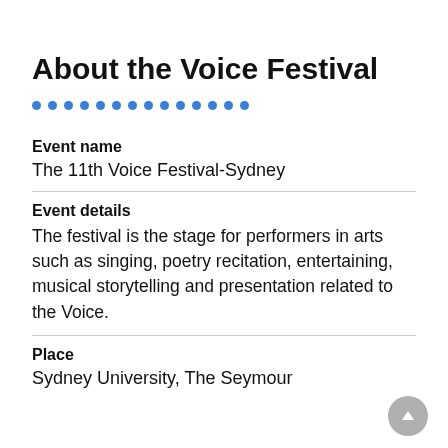About the Voice Festival
Event name
The 11th Voice Festival-Sydney
Event details
The festival is the stage for performers in arts such as singing, poetry recitation, entertaining, musical storytelling and presentation related to the Voice.
Place
Sydney University, The Seymour